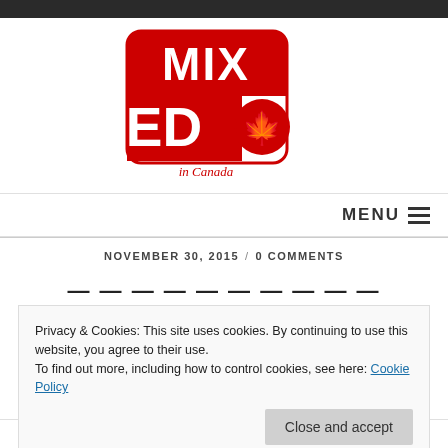[Figure (logo): Mixed ED in Canada logo — red block letters MIX on top row, ED with Canadian maple leaf on bottom row, red outlined border, text 'in Canada' below]
MENU ≡
NOVEMBER 30, 2015 / 0 COMMENTS
Privacy & Cookies: This site uses cookies. By continuing to use this website, you agree to their use.
To find out more, including how to control cookies, see here: Cookie Policy
Close and accept